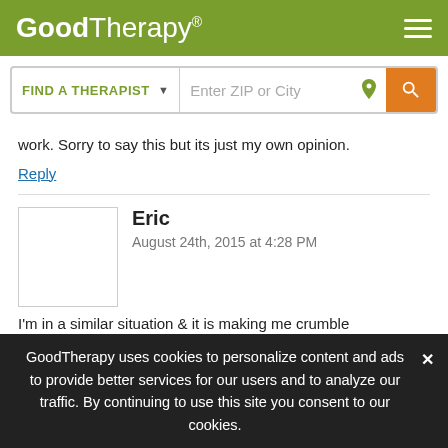GoodTherapy®
[Figure (screenshot): Search bar with FIND A THERAPIST dropdown and Enter ZIP or City input with orange search button]
work. Sorry to say this but its just my own opinion.
Reply
Eric
August 24th, 2015 at 4:28 PM
I'm in a similar situation & it is making me crumble emotionally. My gf & I have been dating for only five months. Her ex (whom I happen to know) ended their year of marriage when he couldn't
GoodTherapy uses cookies to personalize content and ads to provide better services for our users and to analyze our traffic. By continuing to use this site you consent to our cookies.